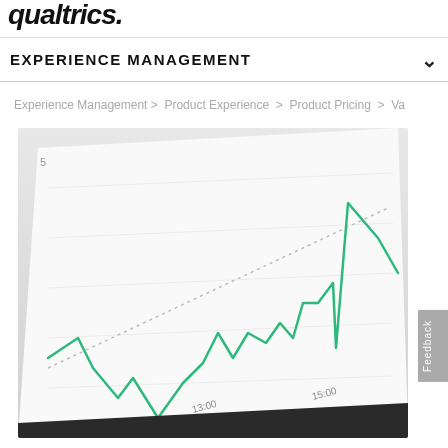qualtrics.
EXPERIENCE MANAGEMENT
Experience Management > Product Experience > Product Pricing > Va...
[Figure (photo): Close-up photo of a screen showing a line chart with a green upward-trending line and a dotted trend line, with x-axis labels around 13:00 and 15:00]
Feedback